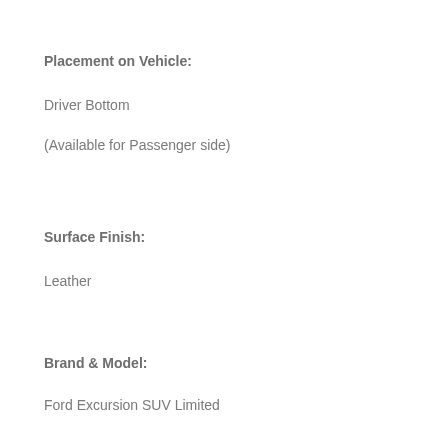Placement on Vehicle:
Driver Bottom
(Available for Passenger side)
Surface Finish:
Leather
Brand & Model:
Ford Excursion SUV Limited